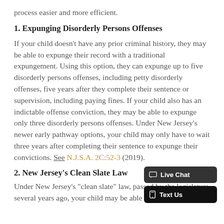process easier and more efficient.
1. Expunging Disorderly Persons Offenses
If your child doesn't have any prior criminal history, they may be able to expunge their record with a traditional expungement. Using this option, they can expunge up to five disorderly persons offenses, including petty disorderly offenses, five years after they complete their sentence or supervision, including paying fines. If your child also has an indictable offense conviction, they may be able to expunge only three disorderly persons offenses. Under New Jersey's newer early pathway options, your child may only have to wait three years after completing their sentence to expunge their convictions. See N.J.S.A. 2C:52-3 (2019).
2. New Jersey's Clean Slate Law
Under New Jersey's "clean slate" law, passed by the legislature several years ago, your child may be able to